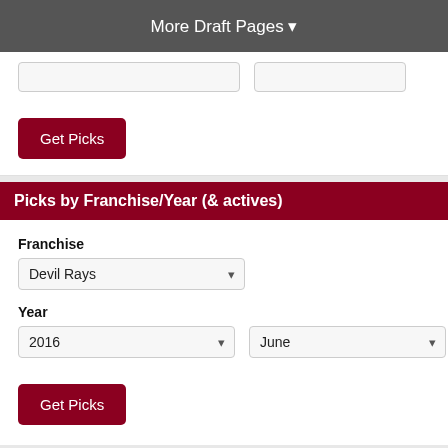More Draft Pages ▼
Get Picks
Picks by Franchise/Year (& actives)
Franchise
Devil Rays
Year
2016
June
Get Picks
Picks by Franchise/Round
Franchise
Devil R...